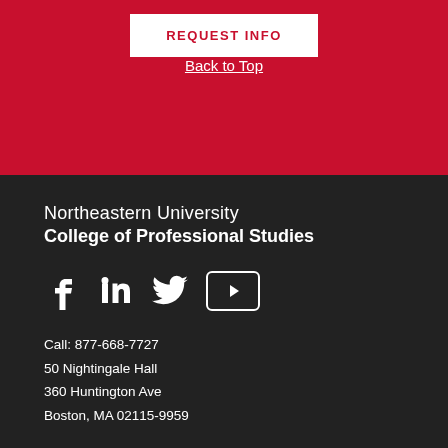REQUEST INFO
Back to Top
Northeastern University
College of Professional Studies
[Figure (illustration): Social media icons: Facebook, LinkedIn, Twitter, YouTube]
Call: 877-668-7727
50 Nightingale Hall
360 Huntington Ave
Boston, MA 02115-9959